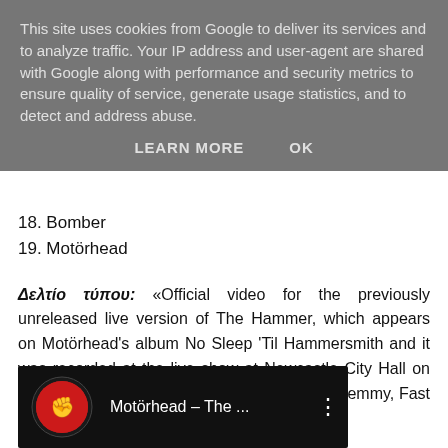This site uses cookies from Google to deliver its services and to analyze traffic. Your IP address and user-agent are shared with Google along with performance and security metrics to ensure quality of service, generate usage statistics, and to detect and address abuse.
LEARN MORE   OK
18. Bomber
19. Motörhead
Δελτίο τύπου: «Official video for the previously unreleased live version of The Hammer, which appears on Motörhead's album No Sleep 'Til Hammersmith and it was recorded at the live show at Newcastle City Hall on March 30th 1981. The line up on this track is Lemmy, Fast Eddie Clarke and Philthy Animal Taylor.»
[Figure (screenshot): YouTube video thumbnail showing Motörhead – The ... with the Motörhead logo/album art on the left and a three-dot menu icon on the right, on a black background.]